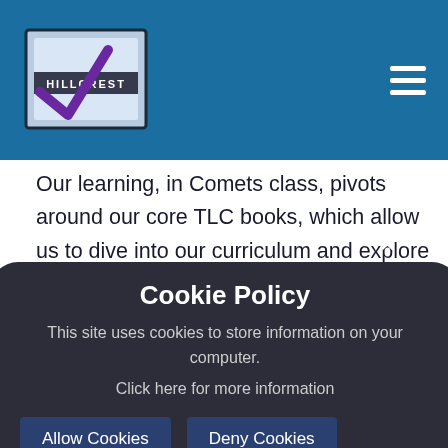Hillcrest — site header with logo and navigation menu
Our learning, in Comets class, pivots around our core TLC books, which allow us to dive into our curriculum and explore the learning objectives outlined in the National Curriculum. Our learning is made memorable through our TLC books, with the characters and stories connecting with and being familiar to children. These TLC books and characters help and enable us to explore, celebrate and enjoy learning outside the classroom...
Cookie Policy
This site uses cookies to store information on your computer. Click here for more information
Allow Cookies   Deny Cookies
! ...honestly, taking an experience through the year is